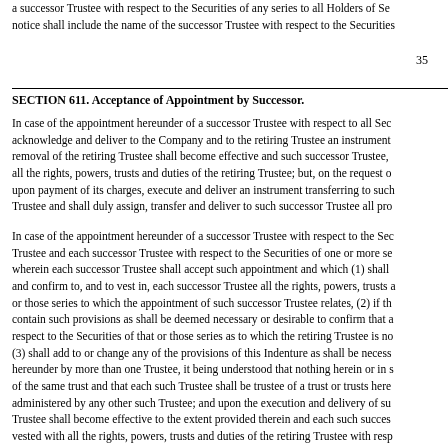a successor Trustee with respect to the Securities of any series to all Holders of Se notice shall include the name of the successor Trustee with respect to the Securities
35
SECTION 611. Acceptance of Appointment by Successor.
In case of the appointment hereunder of a successor Trustee with respect to all Sec acknowledge and deliver to the Company and to the retiring Trustee an instrument removal of the retiring Trustee shall become effective and such successor Trustee, all the rights, powers, trusts and duties of the retiring Trustee; but, on the request o upon payment of its charges, execute and deliver an instrument transferring to such Trustee and shall duly assign, transfer and deliver to such successor Trustee all pro
In case of the appointment hereunder of a successor Trustee with respect to the Sec Trustee and each successor Trustee with respect to the Securities of one or more se wherein each successor Trustee shall accept such appointment and which (1) shall and confirm to, and to vest in, each successor Trustee all the rights, powers, trusts a or those series to which the appointment of such successor Trustee relates, (2) if th contain such provisions as shall be deemed necessary or desirable to confirm that a respect to the Securities of that or those series as to which the retiring Trustee is no (3) shall add to or change any of the provisions of this Indenture as shall be necess hereunder by more than one Trustee, it being understood that nothing herein or in s of the same trust and that each such Trustee shall be trustee of a trust or trusts here administered by any other such Trustee; and upon the execution and delivery of su Trustee shall become effective to the extent provided therein and each such succes vested with all the rights, powers, trusts and duties of the retiring Trustee with resp of such successor Trustee relates; but, on request of the Company or any successor